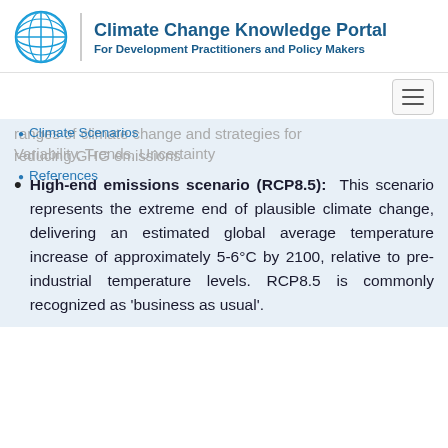Climate Change Knowledge Portal
For Development Practitioners and Policy Makers
ranges of climate change and strategies for reducing GHG emissions
Climate Scenarios
Variability, Trends, Uncertainty
References
High-end emissions scenario (RCP8.5): This scenario represents the extreme end of plausible climate change, delivering an estimated global average temperature increase of approximately 5-6°C by 2100, relative to pre-industrial temperature levels. RCP8.5 is commonly recognized as ‘business as usual’.